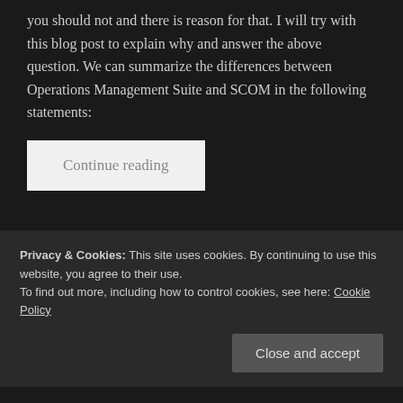you should not and there is reason for that. I will try with this blog post to explain why and answer the above question. We can summarize the differences between Operations Management Suite and SCOM in the following statements:
Continue reading
Spread the word:
[Figure (other): Social sharing icons: Twitter (blue circle), Facebook (blue circle), LinkedIn (dark blue circle), WhatsApp (green circle), Skype (light blue circle), and a More button]
Privacy & Cookies: This site uses cookies. By continuing to use this website, you agree to their use.
To find out more, including how to control cookies, see here: Cookie Policy
Close and accept